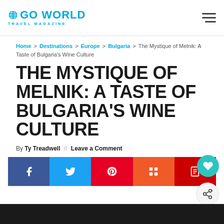GO WORLD TRAVEL MAGAZINE
Home > Destinations > Europe > Bulgaria > The Mystique of Melnik: A Taste of Bulgaria's Wine Culture
THE MYSTIQUE OF MELNIK: A TASTE OF BULGARIA'S WINE CULTURE
By Ty Treadwell // Leave a Comment